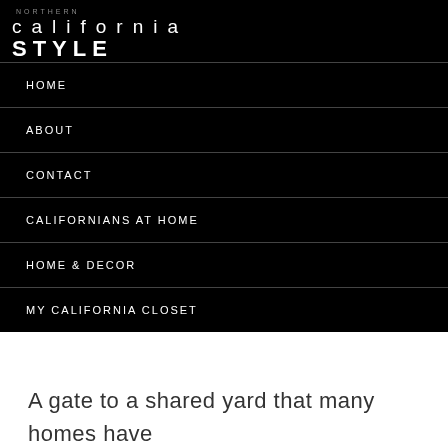NORTHERN california STYLE
HOME
ABOUT
CONTACT
CALIFORNIANS AT HOME
HOME & DECOR
MY CALIFORNIA CLOSET
A gate to a shared yard that many homes have here.